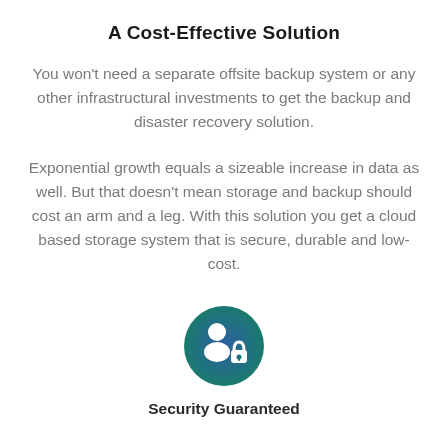A Cost-Effective Solution
You won't need a separate offsite backup system or any other infrastructural investments to get the backup and disaster recovery solution.
Exponential growth equals a sizeable increase in data as well. But that doesn't mean storage and backup should cost an arm and a leg. With this solution you get a cloud based storage system that is secure, durable and low-cost.
[Figure (illustration): Circular icon with dark blue and teal gradient background showing a person silhouette with a padlock, representing security]
Security Guaranteed